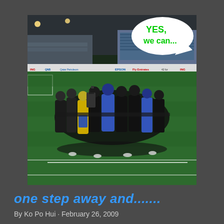[Figure (photo): A football/soccer team huddle on a green pitch at night, with stadium seating visible in the background. Players wearing black, blue, and yellow jerseys. A speech bubble overlay reads 'YES, we can...' in green text on white background. Sponsor banners (ING, EPSON, Fly Emirates) visible along the pitch perimeter.]
one step away and.......
By Ko Po Hui · February 26, 2009